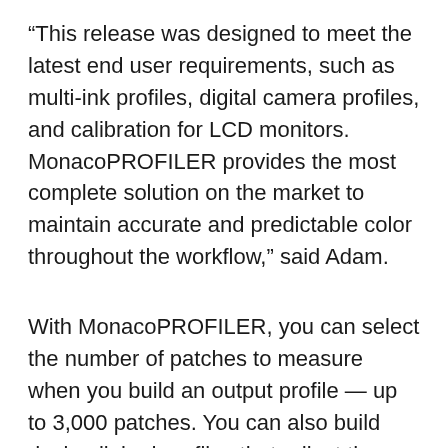“This release was designed to meet the latest end user requirements, such as multi-ink profiles, digital camera profiles, and calibration for LCD monitors. MonacoPROFILER provides the most complete solution on the market to maintain accurate and predictable color throughout the workflow,” said Adam.
With MonacoPROFILER, you can select the number of patches to measure when you build an output profile — up to 3,000 patches. You can also build device-linked profiles that adjust the gamut of a proofing device into that of the target output device for more precise color proofing.
Advanced editing options enable you to manipulate